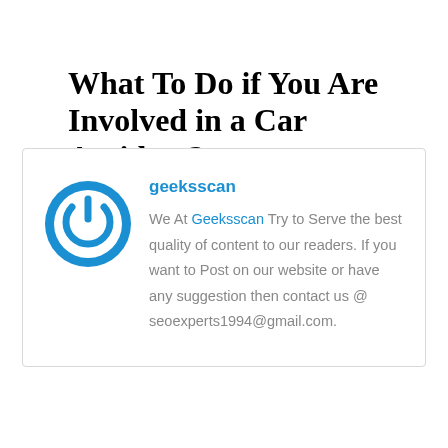What To Do if You Are Involved in a Car Accident?
[Figure (logo): Circular blue power button icon logo for geeksscan]
geeksscan
We At Geeksscan Try to Serve the best quality of content to our readers. If you want to Post on our website or have any suggestion then contact us @ seoexperts1994@gmail.com.